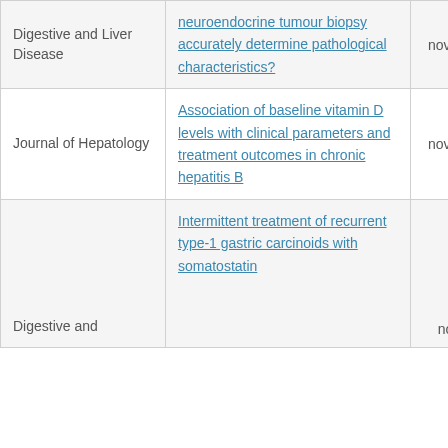| Journal | Article | Date | Likes |
| --- | --- | --- | --- |
| Digestive and Liver Disease | neuroendocrine tumour biopsy accurately determine pathological characteristics? | nov. 15 | 1 ♥ |
| Journal of Hepatology | Association of baseline vitamin D levels with clinical parameters and treatment outcomes in chronic hepatitis B | nov. 15 | 1 ♥ |
| Digestive and | Intermittent treatment of recurrent type-1 gastric carcinoids with somatostatin | nov. |  |